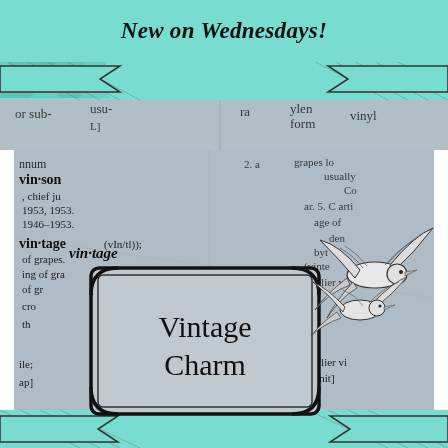New on Wednesdays!
[Figure (illustration): Decorative ribbon banner with diagonal arrow/chevron pattern in teal/mint color, overlaid on dictionary page background]
[Figure (photo): Close-up of dictionary page showing entries including 'vintage', 'vin·son', with definitions and phonetic spellings visible]
[Figure (illustration): Decorative label/badge with ornate border containing text 'Vintage Charm', with a swallow/bird illustration in the upper right]
Vintage Charm